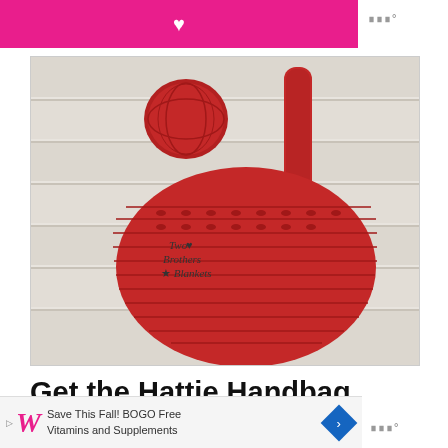[Figure (photo): Pink/magenta advertisement banner at top with a heart icon]
[Figure (photo): Photo of a red crocheted handbag (Hattie Handbag) displayed on a white wooden surface, with a ball of red yarn behind it and 'Two Brothers Blankets' logo watermark]
Get the Hattie Handbag Crochet Pattern for
[Figure (photo): Walgreens advertisement banner at bottom: 'Save This Fall! BOGO Free Vitamins and Supplements']